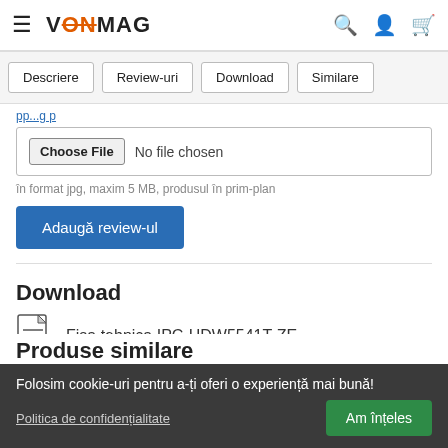VONMAG
Descriere | Review-uri | Download | Similare
Choose File No file chosen
în format jpg, maxim 5 MB, produsul în prim-plan
Adaugă review-ul
Download
Fisa tehnica IPC-HDW5541T-ZE
Folosim cookie-uri pentru a-ți oferi o experiență mai bună!
Politica de confidențialitate
Am înțeles
Produse similare